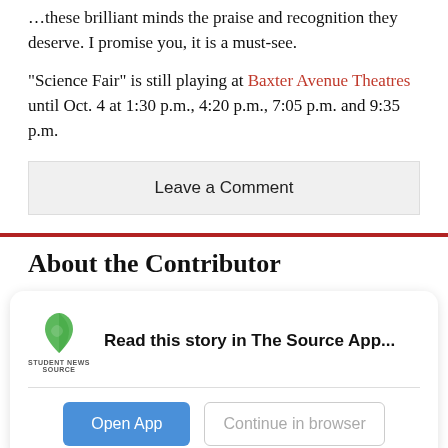…these brilliant minds the praise and recognition they deserve. I promise you, it is a must-see.
"Science Fair" is still playing at Baxter Avenue Theatres until Oct. 4 at 1:30 p.m., 4:20 p.m., 7:05 p.m. and 9:35 p.m.
Leave a Comment
About the Contributor
Read this story in The Source App...
Open App   Continue in browser